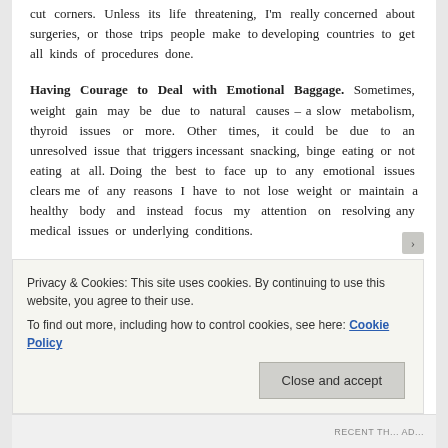cut corners. Unless its life threatening, I'm really concerned about surgeries, or those trips people make to developing countries to get all kinds of procedures done.
Having Courage to Deal with Emotional Baggage.
Sometimes, weight gain may be due to natural causes – a slow metabolism, thyroid issues or more. Other times, it could be due to an unresolved issue that triggers incessant snacking, binge eating or not eating at all. Doing the best to face up to any emotional issues clears me of any reasons I have to not lose weight or maintain a healthy body and instead focus my attention on resolving any medical issues or underlying conditions.
Folks, it's so nice to be back home and writing again
Privacy & Cookies: This site uses cookies. By continuing to use this website, you agree to their use.
To find out more, including how to control cookies, see here: Cookie Policy